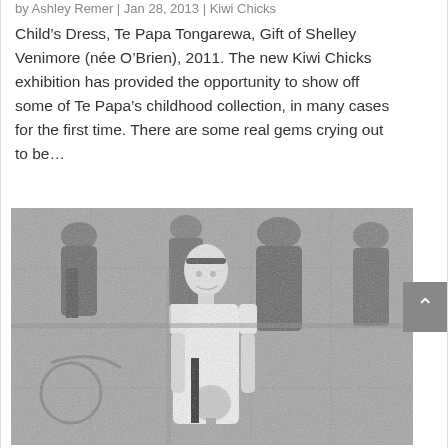by Ashley Remer | Jan 28, 2013 | Kiwi Chicks
Child’s Dress, Te Papa Tongarewa, Gift of Shelley Venimore (née O’Brien), 2011. The new Kiwi Chicks exhibition has provided the opportunity to show off some of Te Papa’s childhood collection, in many cases for the first time. There are some real gems crying out to be…
[Figure (photo): Black and white photograph of a young woman in a white dress holding flowers, standing in front of a mural depicting Victorian-era people.]